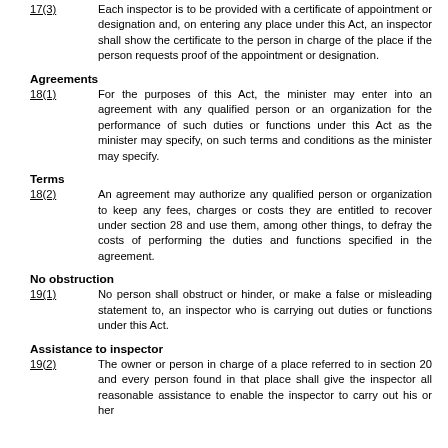17(3)   Each inspector is to be provided with a certificate of appointment or designation and, on entering any place under this Act, an inspector shall show the certificate to the person in charge of the place if the person requests proof of the appointment or designation.
Agreements
18(1)   For the purposes of this Act, the minister may enter into an agreement with any qualified person or an organization for the performance of such duties or functions under this Act as the minister may specify, on such terms and conditions as the minister may specify.
Terms
18(2)   An agreement may authorize any qualified person or organization to keep any fees, charges or costs they are entitled to recover under section 28 and use them, among other things, to defray the costs of performing the duties and functions specified in the agreement.
No obstruction
19(1)   No person shall obstruct or hinder, or make a false or misleading statement to, an inspector who is carrying out duties or functions under this Act.
Assistance to inspector
19(2)   The owner or person in charge of a place referred to in section 20 and every person found in that place shall give the inspector all reasonable assistance to enable the inspector to carry out his or her